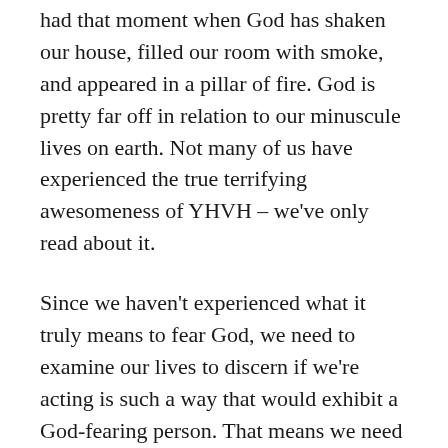had that moment when God has shaken our house, filled our room with smoke, and appeared in a pillar of fire. God is pretty far off in relation to our minuscule lives on earth. Not many of us have experienced the true terrifying awesomeness of YHVH – we've only read about it.
Since we haven't experienced what it truly means to fear God, we need to examine our lives to discern if we're acting is such a way that would exhibit a God-fearing person. That means we need to read the examples of what it means to actually fear God.
God-fearers do not hinder those with disabilities (Leviticus 19:14).